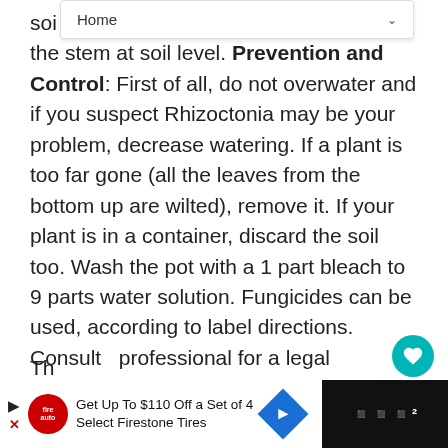Home
soi… r the stem at soil level. Prevention and Control: First of all, do not overwater and if you suspect Rhizoctonia may be your problem, decrease watering. If a plant is too far gone (all the leaves from the bottom up are wilted), remove it. If your plant is in a container, discard the soil too. Wash the pot with a 1 part bleach to 9 parts water solution. Fungicides can be used, according to label directions. Consult professional for a legal recommendation of what fungicide to use.
Pest : Thrips
Th…